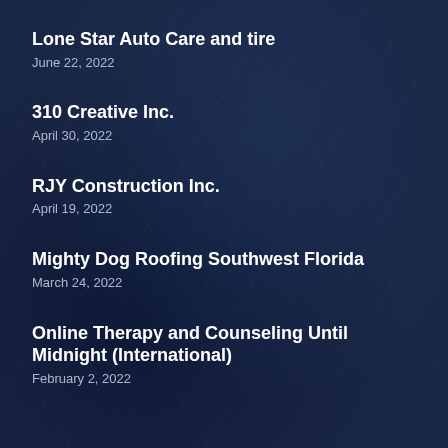Lone Star Auto Care and tire
June 22, 2022
310 Creative Inc.
April 30, 2022
RJY Construction Inc.
April 19, 2022
Mighty Dog Roofing Southwest Florida
March 24, 2022
Online Therapy and Counseling Until Midnight (International)
February 2, 2022